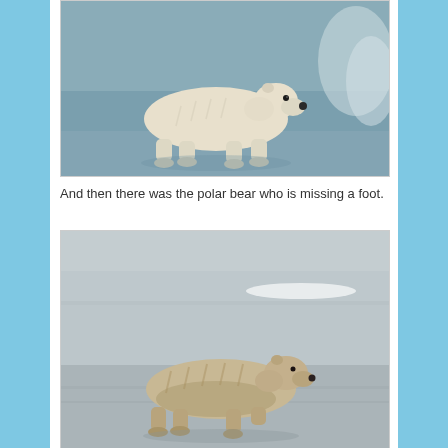[Figure (photo): A white polar bear walking on ice/water surface, side profile view facing right]
And then there was the polar bear who is missing a foot.
[Figure (photo): A polar bear walking on a sandy/icy flat surface, side profile view facing right, appearing to be missing a foot]